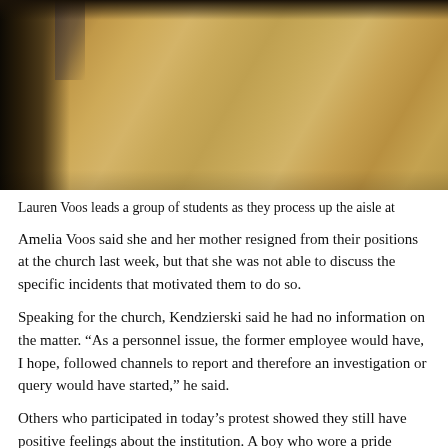[Figure (photo): Close-up photograph of a person in golden/tan tones, likely wearing a robe or vestment, with dark fabric visible at the upper left. The image is cropped to show mainly the torso/shoulder area in warm brown and gold hues.]
Lauren Voos leads a group of students as they process up the aisle at
Amelia Voos said she and her mother resigned from their positions at the church last week, but that she was not able to discuss the specific incidents that motivated them to do so.
Speaking for the church, Kendzierski said he had no information on the matter. “As a personnel issue, the former employee would have, I hope, followed channels to report and therefore an investigation or query would have started,” he said.
Others who participated in today’s protest showed they still have positive feelings about the institution. A boy who wore a pride